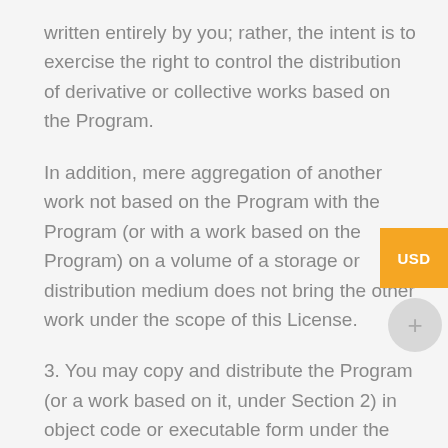written entirely by you; rather, the intent is to exercise the right to control the distribution of derivative or collective works based on the Program.
In addition, mere aggregation of another work not based on the Program with the Program (or with a work based on the Program) on a volume of a storage or distribution medium does not bring the other work under the scope of this License.
3. You may copy and distribute the Program (or a work based on it, under Section 2) in object code or executable form under the terms of Sections 1 and 2 above provided that you also do one of the following: